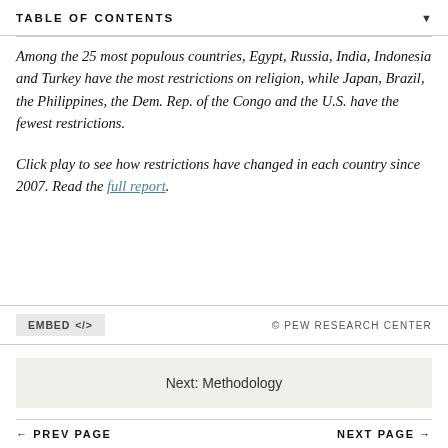TABLE OF CONTENTS
Among the 25 most populous countries, Egypt, Russia, India, Indonesia and Turkey have the most restrictions on religion, while Japan, Brazil, the Philippines, the Dem. Rep. of the Congo and the U.S. have the fewest restrictions.
Click play to see how restrictions have changed in each country since 2007. Read the full report.
EMBED </> © PEW RESEARCH CENTER
Next: Methodology
← PREV PAGE   NEXT PAGE →